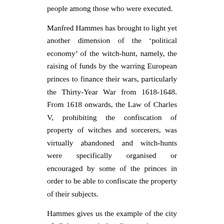people among those who were executed.
Manfred Hammes has brought to light yet another dimension of the ‘political economy’ of the witch-hunt, namely, the raising of funds by the warring European princes to finance their wars, particularly the Thirty-Year War from 1618-1648. From 1618 onwards, the Law of Charles V, prohibiting the confiscation of property of witches and sorcerers, was virtually abandoned and witch-hunts were specifically organised or encouraged by some of the princes in order to be able to confiscate the property of their subjects.
Hammes gives us the example of the city of Cologne and the dispute that arose between the city fathers and the Elector Ferdinand of Bavaria – the ruler of the diocese. The city of Cologne, a rich centre of trading and industries, had remained neutral for a long time during the Thirty-Years War. (In the beginning of the seventeenth century, the city had seen a flourishing